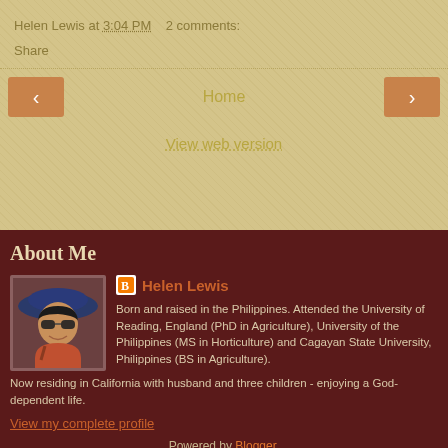Helen Lewis at 3:04 PM   2 comments:
Share
‹   Home   ›
View web version
About Me
[Figure (photo): Profile photo of Helen Lewis - woman wearing blue hat and sunglasses, smiling, orange top]
Helen Lewis
Born and raised in the Philippines. Attended the University of Reading, England (PhD in Agriculture), University of the Philippines (MS in Horticulture) and Cagayan State University, Philippines (BS in Agriculture). Now residing in California with husband and three children - enjoying a God-dependent life.
View my complete profile
Powered by Blogger.